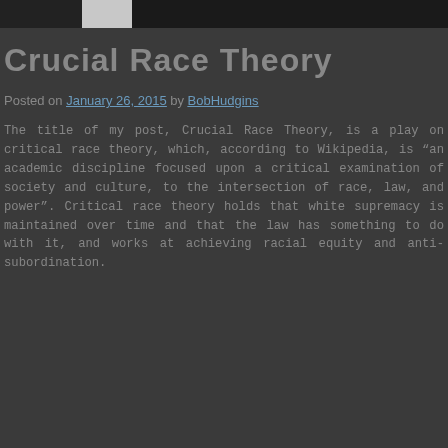[navigation bar]
Crucial Race Theory
Posted on January 26, 2015 by BobHudgins
The title of my post, Crucial Race Theory, is a play on critical race theory, which, according to Wikipedia, is “an academic discipline focused upon a critical examination of society and culture, to the intersection of race, law, and power”. Critical race theory holds that white supremacy is maintained over time and that the law has something to do with it, and works at achieving racial equity and anti-subordination.